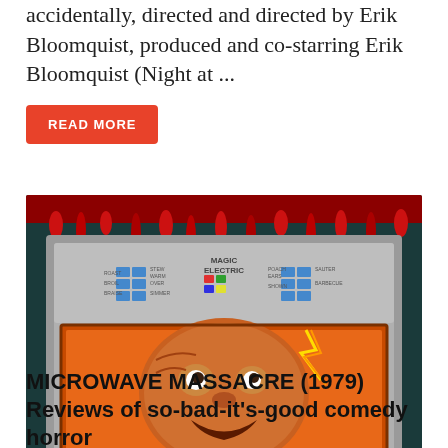accidentally, directed and directed by Erik Bloomquist, produced and co-starring Erik Bloomquist (Night at ...
READ MORE
[Figure (illustration): Horror movie poster/artwork for Microwave Massacre (1979) showing a grotesque zombie-like face inside a microwave oven with blood dripping at the top. The appliance panel reads 'MAGIC ELECTRIC' with blue buttons.]
MICROWAVE MASSACRE (1979) Reviews of so-bad-it's-good comedy horror